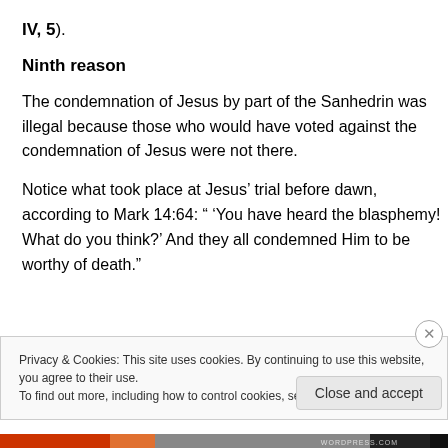IV, 5).
Ninth reason
The condemnation of Jesus by part of the Sanhedrin was illegal because those who would have voted against the condemnation of Jesus were not there.
Notice what took place at Jesus’ trial before dawn, according to Mark 14:64: “ ‘You have heard the blasphemy! What do you think?’ And they all condemned Him to be worthy of death.”
Privacy & Cookies: This site uses cookies. By continuing to use this website, you agree to their use.
To find out more, including how to control cookies, see here: Cookie Policy